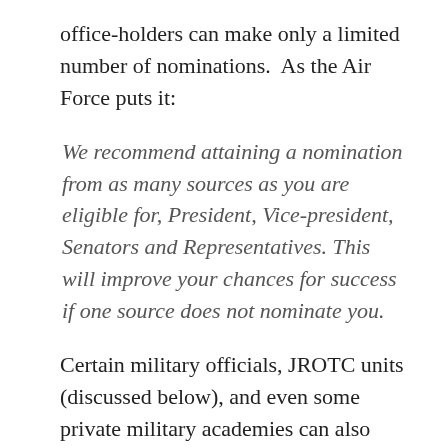office-holders can make only a limited number of nominations.  As the Air Force puts it:
We recommend attaining a nomination from as many sources as you are eligible for, President, Vice-president, Senators and Representatives. This will improve your chances for success if one source does not nominate you.
Certain military officials, JROTC units (discussed below), and even some private military academies can also nominate applicants.  Consult service academy websites for more information on those options.